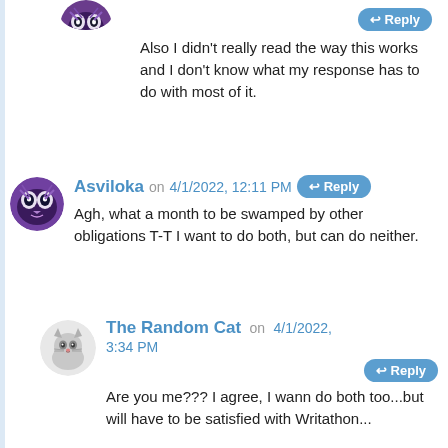Also I didn't really read the way this works and I don't know what my response has to do with most of it.
Asviloka on 4/1/2022, 12:11 PM
Agh, what a month to be swamped by other obligations T-T I want to do both, but can do neither.
The Random Cat on 4/1/2022, 3:34 PM
Are you me??? I agree, I wann do both too...but will have to be satisfied with Writathon...